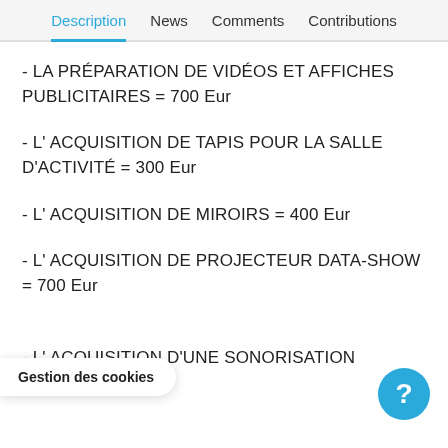Description  News  Comments  Contributions
- LA PRÉPARATION DE VIDÉOS ET AFFICHES PUBLICITAIRES = 700 Eur
- L' ACQUISITION DE TAPIS POUR LA SALLE D'ACTIVITÉ = 300 Eur
- L' ACQUISITION DE MIROIRS = 400 Eur
- L' ACQUISITION DE PROJECTEUR DATA-SHOW = 700 Eur
Gestion des cookies
- L' ACQUISITION D'UNE SONORISATION